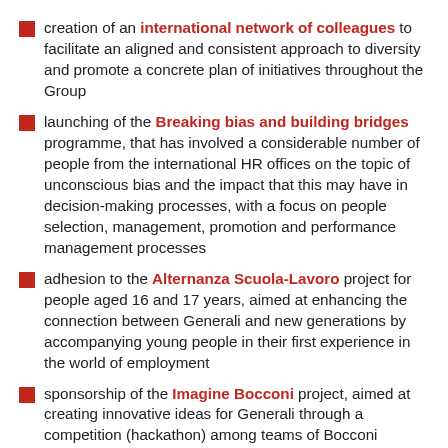creation of an international network of colleagues to facilitate an aligned and consistent approach to diversity and promote a concrete plan of initiatives throughout the Group
launching of the Breaking bias and building bridges programme, that has involved a considerable number of people from the international HR offices on the topic of unconscious bias and the impact that this may have in decision-making processes, with a focus on people selection, management, promotion and performance management processes
adhesion to the Alternanza Scuola-Lavoro project for people aged 16 and 17 years, aimed at enhancing the connection between Generali and new generations by accompanying young people in their first experience in the world of employment
sponsorship of the Imagine Bocconi project, aimed at creating innovative ideas for Generali through a competition (hackathon) among teams of Bocconi students from different schools and departments for